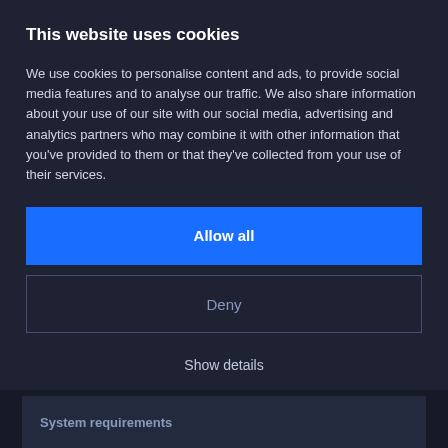This website uses cookies
We use cookies to personalise content and ads, to provide social media features and to analyse our traffic. We also share information about your use of our site with our social media, advertising and analytics partners who may combine it with other information that you've provided to them or that they've collected from your use of their services.
Allow all
Deny
Show details
System requirements